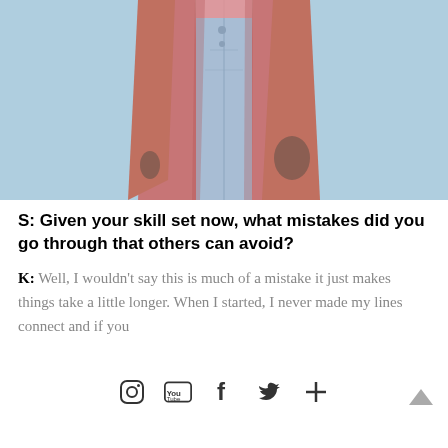[Figure (photo): A person wearing a pink/rose long cardigan coat over a light blue denim jeans and a pink top, standing against a light blue brick wall background. The photo is cropped from the torso down, showing the midsection and legs.]
S: Given your skill set now, what mistakes did you go through that others can avoid?
K: Well, I wouldn't say this is much of a mistake it just makes things take a little longer. When I started, I never made my lines connect and if you